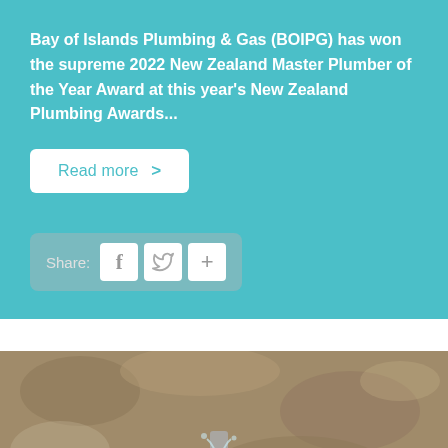Bay of Islands Plumbing & Gas (BOIPG) has won the supreme 2022 New Zealand Master Plumber of the Year Award at this year's New Zealand Plumbing Awards...
Read more >
Share: f  [twitter]  +
[Figure (photo): Close-up photo of water flowing from a pipe or fitting against a sandy/concrete textured background]